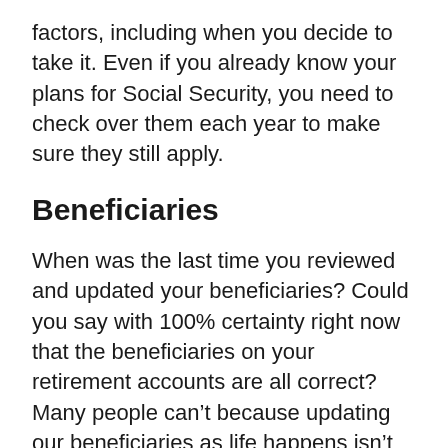factors, including when you decide to take it. Even if you already know your plans for Social Security, you need to check over them each year to make sure they still apply.
Beneficiaries
When was the last time you reviewed and updated your beneficiaries? Could you say with 100% certainty right now that the beneficiaries on your retirement accounts are all correct? Many people can't because updating our beneficiaries as life happens isn't something on our to-do lists. It isn't something we regularly think about.